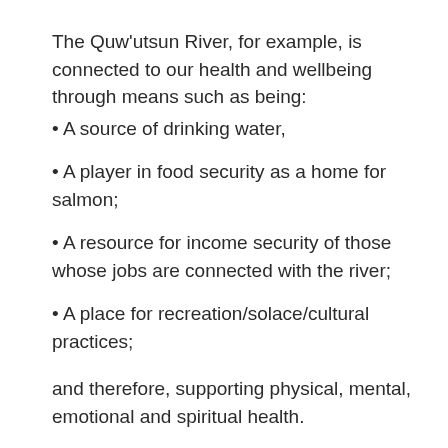The Quw'utsun River, for example, is connected to our health and wellbeing through means such as being:
A source of drinking water,
A player in food security as a home for salmon;
A resource for income security of those whose jobs are connected with the river;
A place for recreation/solace/cultural practices;
and therefore, supporting physical, mental, emotional and spiritual health.